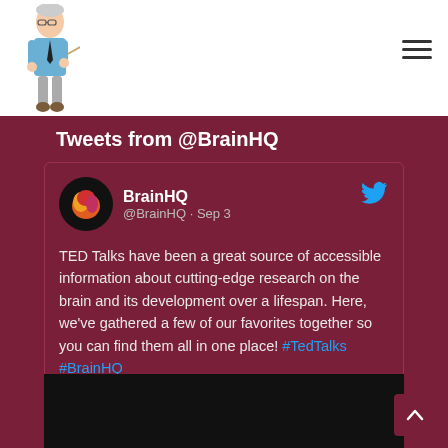[Figure (illustration): Cartoon illustration of an elderly male teacher/professor figure with glasses, wearing a blue shirt and grey pants, holding a pointer stick. Logo for an educational website.]
Tweets from @BrainHQ
[Figure (screenshot): Embedded tweet card from @BrainHQ dated Sep 3. Contains BrainHQ logo (colorful brain on dark circle), Twitter bird icon, username BrainHQ, handle @BrainHQ. Tweet text: TED Talks have been a great source of accessible information about cutting-edge research on the brain and its development over a lifespan. Here, we've gathered a few of our favorites together so you can find them all in one place! #TedTalks #BrainHQ brainhq.com/blog/the-best-...]
[Figure (screenshot): Dark/black video thumbnail area at bottom of tweet card.]